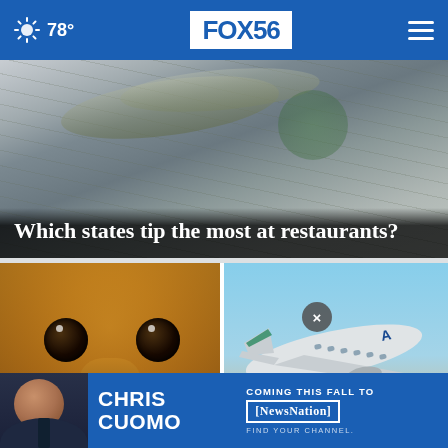78° FOX56
[Figure (photo): Close-up photo of rolled US dollar bills, tipped/money context image for tipping article]
Which states tip the most at restaurants?
[Figure (photo): Close-up photo of a beagle dog's face looking at the camera]
Beagle puppies rescued from ma... fin...
[Figure (photo): Photo of an Alaska Airlines airplane in flight against blue sky]
Alaska Airlines plane lose...
[Figure (photo): Advertisement banner for Chris Cuomo coming to NewsNation this fall, with photo of Chris Cuomo]
CHRIS CUOMO COMING THIS FALL TO [NewsNation] FIND YOUR CHANNEL.